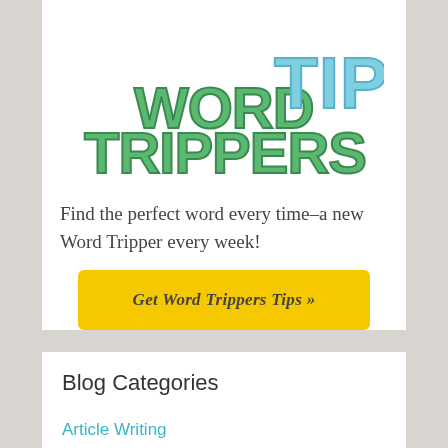[Figure (logo): Word Trippers Tips logo — 'Word Trippers' in green bubble letters and 'TIPS' in large light blue letters]
Find the perfect word every time–a new Word Tripper every week!
Get Word Trippers Tips »
Blog Categories
Article Writing